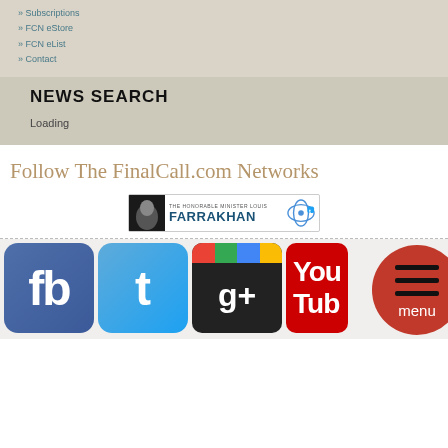» Subscriptions
» FCN eStore
» FCN eList
» Contact
NEWS SEARCH
Loading
Follow The FinalCall.com Networks
[Figure (logo): The Honorable Minister Louis Farrakhan banner with photo and stylized text]
[Figure (infographic): Social media icons: Facebook (fb), Twitter (t), Google+ (g+), YouTube (Yub), and a red circular menu button]